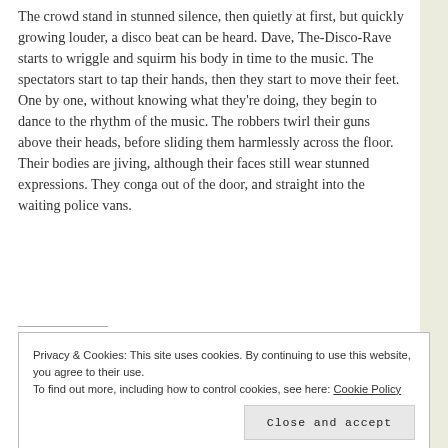The crowd stand in stunned silence, then quietly at first, but quickly growing louder, a disco beat can be heard. Dave, The-Disco-Rave starts to wriggle and squirm his body in time to the music. The spectators start to tap their hands, then they start to move their feet. One by one, without knowing what they're doing, they begin to dance to the rhythm of the music. The robbers twirl their guns above their heads, before sliding them harmlessly across the floor. Their bodies are jiving, although their faces still wear stunned expressions. They conga out of the door, and straight into the waiting police vans.
Privacy & Cookies: This site uses cookies. By continuing to use this website, you agree to their use. To find out more, including how to control cookies, see here: Cookie Policy
Close and accept